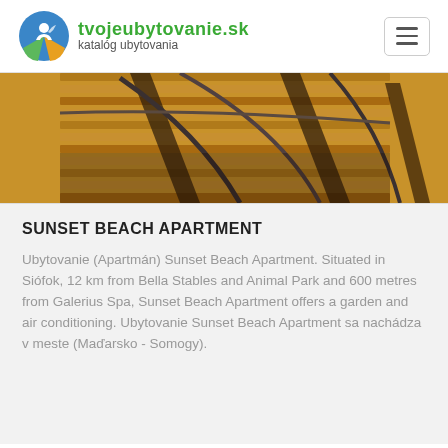tvojeubytovanie.sk katalóg ubytovania
[Figure (photo): Close-up photo of lounge chair frames with brown/orange wooden slats and metal frame structure, outdoor setting with warm lighting]
SUNSET BEACH APARTMENT
Ubytovanie (Apartmán) Sunset Beach Apartment. Situated in Siófok, 12 km from Bella Stables and Animal Park and 600 metres from Galerius Spa, Sunset Beach Apartment offers a garden and air conditioning. Ubytovanie Sunset Beach Apartment sa nachádza v meste (Maďarsko - Somogy).